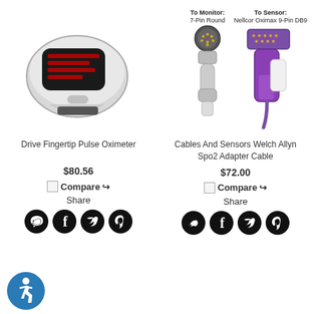[Figure (photo): Drive Fingertip Pulse Oximeter device, white and grey, showing LED display]
[Figure (schematic): Cables And Sensors Welch Allyn Spo2 Adapter Cable showing To Monitor: 7-Pin Round connector and To Sensor: Nellcor Oximax 9-Pin DB9 connector with purple sensor]
Drive Fingertip Pulse Oximeter
Cables And Sensors Welch Allyn Spo2 Adapter Cable
$80.56
$72.00
Compare
Compare
Share
Share
[Figure (illustration): Accessibility wheelchair icon (blue circle with white figure)]